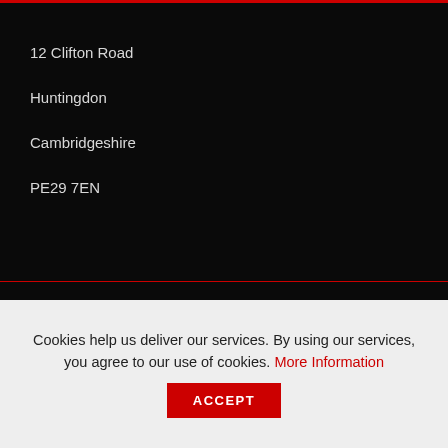12 Clifton Road
Huntingdon
Cambridgeshire
PE29 7EN
USA – North America
2025 James Howard Drive
Richmond
KY 40475
T +44 (0)1480 447400   E info@trbls.com
[Figure (infographic): Social media icons: Facebook (f), Twitter (bird), LinkedIn (in) in red]
Cookies help us deliver our services. By using our services, you agree to our use of cookies. More Information  ACCEPT